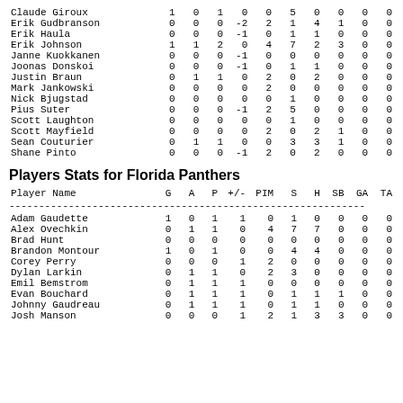| Player Name | G | A | P | +/- | PIM | S | H | SB | GA | TA |
| --- | --- | --- | --- | --- | --- | --- | --- | --- | --- | --- |
| Claude Giroux | 1 | 0 | 1 | 0 | 0 | 5 | 0 | 0 | 0 | 0 |
| Erik Gudbranson | 0 | 0 | 0 | -2 | 2 | 1 | 4 | 1 | 0 | 0 |
| Erik Haula | 0 | 0 | 0 | -1 | 0 | 1 | 1 | 0 | 0 | 0 |
| Erik Johnson | 1 | 1 | 2 | 0 | 4 | 7 | 2 | 3 | 0 | 0 |
| Janne Kuokkanen | 0 | 0 | 0 | -1 | 0 | 0 | 0 | 0 | 0 | 0 |
| Joonas Donskoi | 0 | 0 | 0 | -1 | 0 | 1 | 1 | 0 | 0 | 0 |
| Justin Braun | 0 | 1 | 1 | 0 | 2 | 0 | 2 | 0 | 0 | 0 |
| Mark Jankowski | 0 | 0 | 0 | 0 | 2 | 0 | 0 | 0 | 0 | 0 |
| Nick Bjugstad | 0 | 0 | 0 | 0 | 0 | 1 | 0 | 0 | 0 | 0 |
| Pius Suter | 0 | 0 | 0 | -1 | 2 | 5 | 0 | 0 | 0 | 0 |
| Scott Laughton | 0 | 0 | 0 | 0 | 0 | 1 | 0 | 0 | 0 | 0 |
| Scott Mayfield | 0 | 0 | 0 | 0 | 2 | 0 | 2 | 1 | 0 | 0 |
| Sean Couturier | 0 | 1 | 1 | 0 | 0 | 3 | 3 | 1 | 0 | 0 |
| Shane Pinto | 0 | 0 | 0 | -1 | 2 | 0 | 2 | 0 | 0 | 0 |
Players Stats for Florida Panthers
| Player Name | G | A | P | +/- | PIM | S | H | SB | GA | TA |
| --- | --- | --- | --- | --- | --- | --- | --- | --- | --- | --- |
| Adam Gaudette | 1 | 0 | 1 | 1 | 0 | 1 | 0 | 0 | 0 | 0 |
| Alex Ovechkin | 0 | 1 | 1 | 0 | 4 | 7 | 7 | 0 | 0 | 0 |
| Brad Hunt | 0 | 0 | 0 | 0 | 0 | 0 | 0 | 0 | 0 | 0 |
| Brandon Montour | 1 | 0 | 1 | 0 | 0 | 4 | 4 | 0 | 0 | 0 |
| Corey Perry | 0 | 0 | 0 | 1 | 2 | 0 | 0 | 0 | 0 | 0 |
| Dylan Larkin | 0 | 1 | 1 | 0 | 2 | 3 | 0 | 0 | 0 | 0 |
| Emil Bemstrom | 0 | 1 | 1 | 1 | 0 | 0 | 0 | 0 | 0 | 0 |
| Evan Bouchard | 0 | 1 | 1 | 1 | 0 | 1 | 1 | 1 | 0 | 0 |
| Johnny Gaudreau | 0 | 1 | 1 | 1 | 0 | 1 | 1 | 0 | 0 | 0 |
| Josh Manson | 0 | 0 | 0 | 1 | 2 | 1 | 3 | 3 | 0 | 0 |